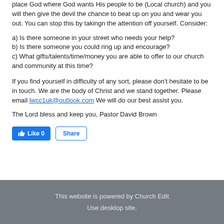place God where God wants His people to be (Local church) and you will then give the devil the chance to beat up on you and wear you out. You can stop this by takingn the attention off yourself. Consider:
a) Is there someone in your street who needs your help?
b) Is there someone you could ring up and encourage?
c) What gifts/talents/time/money you are able to offer to our church and community at this time?
If you find yourself in difficulty of any sort, please don't hesitate to be in touch. We are the body of Christ and we stand together. Please email lwcc1uk@outlook.com We will do our best assist you.
The Lord bless and keep you, Pastor David Brown
This website is powered by Church Edit
Use desktop site.